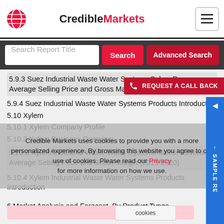Credible Markets
Search Report Title | Search | Advanced Search
5.9.3 Suez Industrial Waste Water Systems Sales, Revenue, Average Selling Price and Gross Margin (2015-2020)
5.9.4 Suez Industrial Waste Water Systems Products Introduction
5.10 Xylem
5.10.1 Xylem Company Profile
5.10.2 Xylem Business Overview
5.10.3 Xylem Industrial Waste Water Systems Sales, Revenue, Average Selling Price and Gross Margin (2015-2020)
5.10.4 Xylem Industrial Waste Water Systems Products Introduction
6 Market Analysis and Forecast, By Product Types